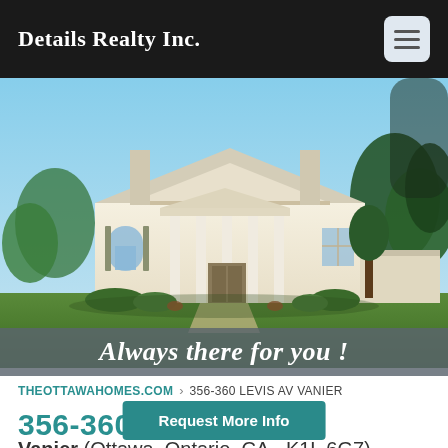Details Realty Inc.
[Figure (photo): Large white colonial-style house with columns and portico, surrounded by trees and landscaped grounds under a blue sky.]
Always there for you !
THEOTTAWAHOMES.COM › 356-360 LEVIS AV VANIER
356-360 LEVIS AV
Vanier (Ottawa, Ontario, CA - K1L 6G7)
Request More Info